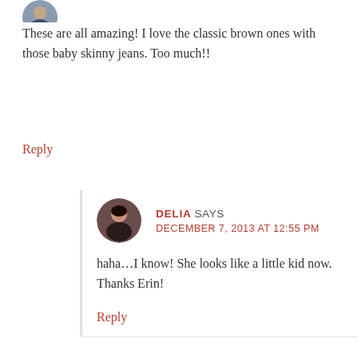[Figure (photo): Partial avatar image of a commenter at the top, cropped]
These are all amazing! I love the classic brown ones with those baby skinny jeans. Too much!!
Reply
[Figure (photo): Circular avatar photo of Delia, a woman with dark hair]
DELIA SAYS
DECEMBER 7, 2013 AT 12:55 PM
haha…I know! She looks like a little kid now. Thanks Erin!
Reply